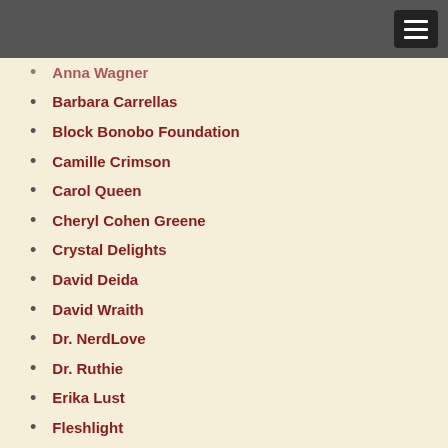Anna Wagner
Barbara Carrellas
Block Bonobo Foundation
Camille Crimson
Carol Queen
Cheryl Cohen Greene
Crystal Delights
David Deida
David Wraith
Dr. NerdLove
Dr. Ruthie
Erika Lust
Fleshlight
Galen Fous MTP
Jaiya
Jiz Lee
Joan Price
Kink Academy